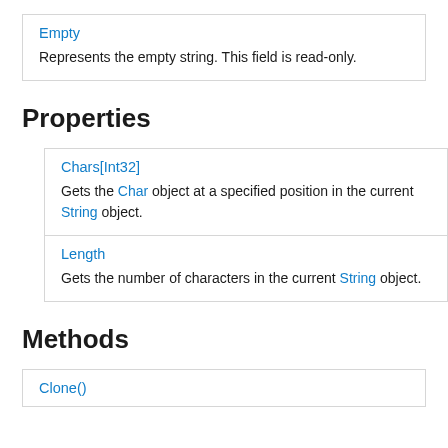| Empty | Represents the empty string. This field is read-only. |
Properties
| Chars[Int32] | Gets the Char object at a specified position in the current String object. |
| Length | Gets the number of characters in the current String object. |
Methods
| Clone() |  |